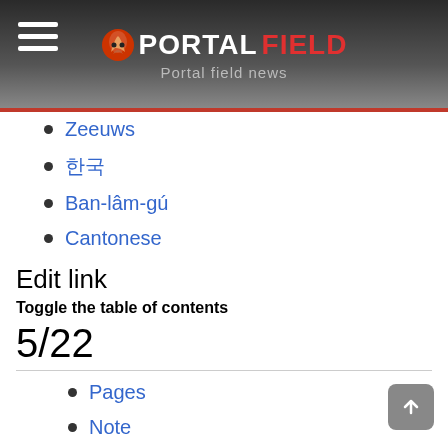PORTALFIELD - Portal field news
Zeeuws
한국
Ban-lâm-gú
Cantonese
Edit link
Toggle the table of contents
5/22
Pages
Note
Japanese
Browse